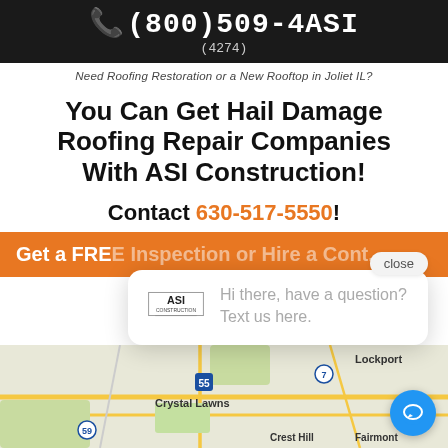(800)509-4ASI (4274)
Need Roofing Restoration or a New Rooftop in Joliet IL?
You Can Get Hail Damage Roofing Repair Companies With ASI Construction!
Contact 630-517-5550!
Get a FREE Inspection or Hire a Cont...
[Figure (screenshot): Chat popup from ASI Construction with logo and message: Hi there, have a question? Text us here.]
[Figure (map): Google Maps screenshot showing Joliet IL area with Crystal Lawns, Lockport, Crest Hill, Fairmont labels and route 55, 7, 59 markers]